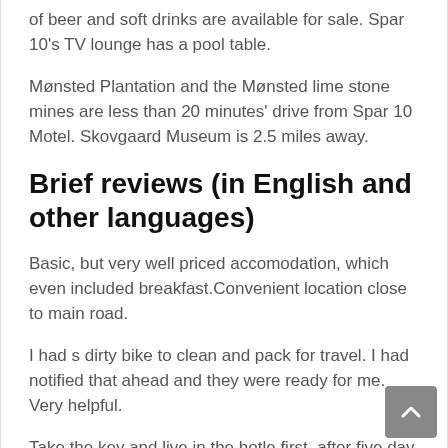of beer and soft drinks are available for sale. Spar 10's TV lounge has a pool table.
Mønsted Plantation and the Mønsted lime stone mines are less than 20 minutes' drive from Spar 10 Motel. Skovgaard Museum is 2.5 miles away.
Brief reviews (in English and other languages)
Basic, but very well priced accomodation, which even included breakfast.Convenient location close to main road.
I had s dirty bike to clean and pack for travel. I had notified that ahead and they were ready for me. Very helpful.
Take the key and live in the hotle first, after five day when I checked out , I knew I didn't pay. Quite a new expirence and thanks for trusting.Room is ...